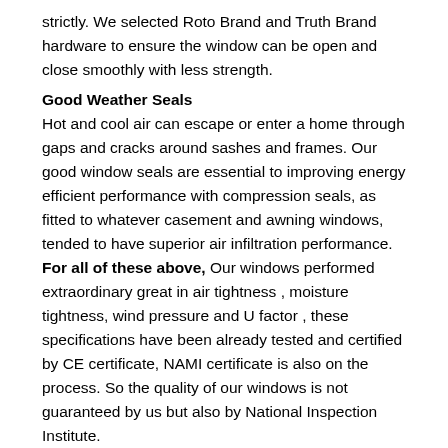strictly. We selected Roto Brand and Truth Brand hardware to ensure the window can be open and close smoothly with less strength.
Good Weather Seals
Hot and cool air can escape or enter a home through gaps and cracks around sashes and frames. Our good window seals are essential to improving energy efficient performance with compression seals, as fitted to whatever casement and awning windows, tended to have superior air infiltration performance.
For all of these above, Our windows performed extraordinary great in air tightness , moisture tightness, wind pressure and U factor , these specifications have been already tested and certified by CE certificate, NAMI certificate is also on the process. So the quality of our windows is not guaranteed by us but also by National Inspection Institute.
Beside the quality of the windows we also offer